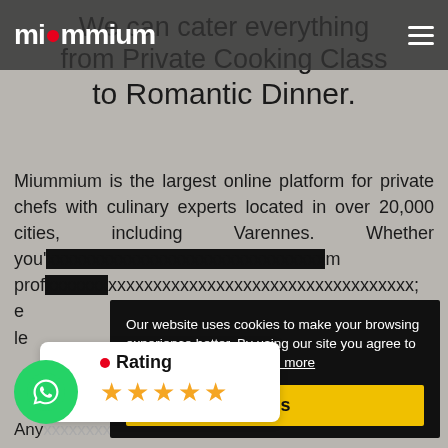miummium
We can cater everything from Private Cooking Class to Romantic Dinner.
Miummium is the largest online platform for private chefs with culinary experts located in over 20,000 cities, including Varennes. Whether you'...
Our website uses cookies to make your browsing experience better. By using our site [you agree to] the use of cookies. Learn more
Yes
Rating ★★★★★
Any...